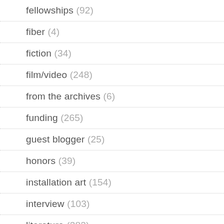fellowships (92)
fiber (4)
fiction (34)
film/video (248)
from the archives (6)
funding (265)
guest blogger (25)
honors (39)
installation art (154)
interview (103)
literature (382)
live-work space (1)